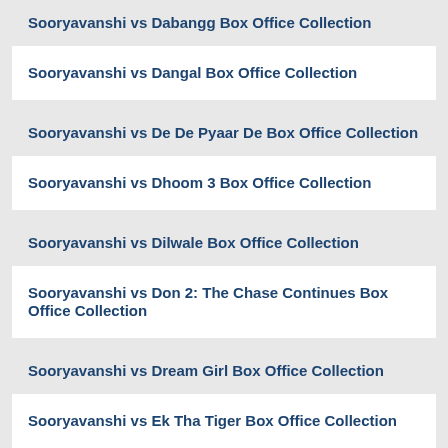Sooryavanshi vs Dabangg Box Office Collection
Sooryavanshi vs Dangal Box Office Collection
Sooryavanshi vs De De Pyaar De Box Office Collection
Sooryavanshi vs Dhoom 3 Box Office Collection
Sooryavanshi vs Dilwale Box Office Collection
Sooryavanshi vs Don 2: The Chase Continues Box Office Collection
Sooryavanshi vs Dream Girl Box Office Collection
Sooryavanshi vs Ek Tha Tiger Box Office Collection
Sooryavanshi vs Ek Villain Box Office Collection
Sooryavanshi vs Ghajini Box Office Collection